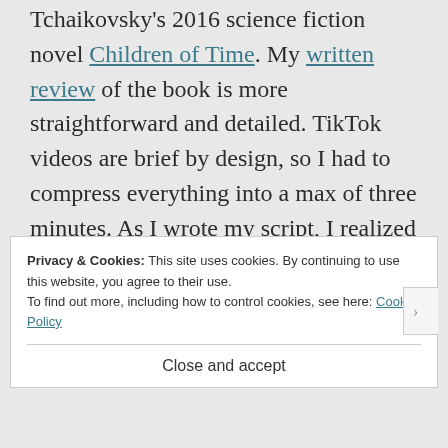Tchaikovsky's 2016 science fiction novel Children of Time. My written review of the book is more straightforward and detailed. TikTok videos are brief by design, so I had to compress everything into a max of three minutes. As I wrote my script, I realized there was no way I could deliver anything serious in such a short time period, so I punted and this is the result.
Privacy & Cookies: This site uses cookies. By continuing to use this website, you agree to their use. To find out more, including how to control cookies, see here: Cookie Policy
Close and accept